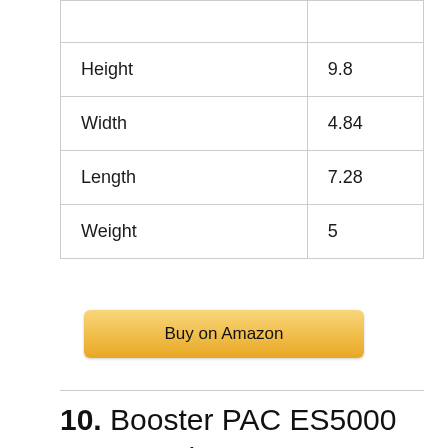|  |  |
| Height | 9.8 |
| Width | 4.84 |
| Length | 7.28 |
| Weight | 5 |
[Figure (other): Buy on Amazon button (golden/yellow button)]
10. Booster PAC ES5000 1500 Peak Amp 12V Jump Starter